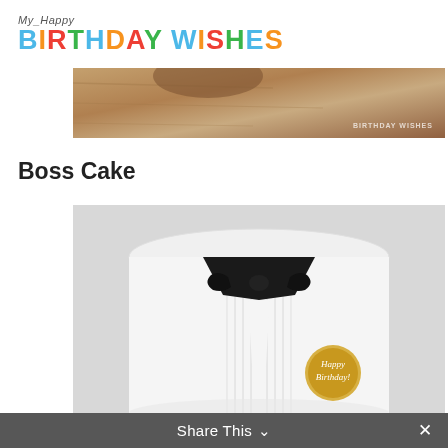My Happy Birthday Wishes
[Figure (photo): Top portion of a photo showing a wooden surface with a bowl, with website watermark]
Boss Cake
[Figure (photo): A white cylindrical birthday cake decorated to look like a tuxedo with black bow tie and lapels, and a gold circular topper reading Happy Birthday]
Share This